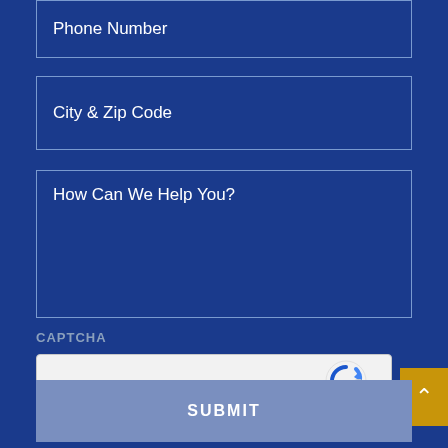Phone Number
City & Zip Code
How Can We Help You?
CAPTCHA
[Figure (other): reCAPTCHA widget with checkbox labeled 'I'm not a robot', reCAPTCHA logo, Privacy and Terms links]
SUBMIT